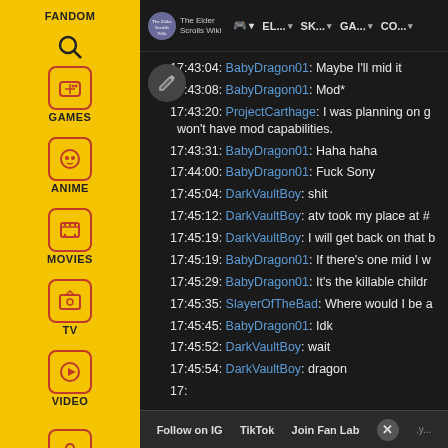[Figure (screenshot): Fandom wiki website sidebar with navigation icons for GAMES, ANIME, MOVIES, TV, VIDEO categories in yellow sidebar, and a chat log on dark background showing timestamped messages from users BabyDragon01, ProjectCarthage, DarkVaultBoy, and SlayerOfTheBad on The Elder Scrolls Wiki page.]
17:43:04: BabyDragon01: Maybe I'll mid it
17:43:08: BabyDragon01: Mod*
17:43:20: ProjectCarthage: I was planning on g won't have mod capabilities.
17:43:31: BabyDragon01: Haha haha
17:44:00: BabyDragon01: Fuck Sony
17:45:04: DarkVaultBoy: shit
17:45:12: DarkVaultBoy: atv took my place at #
17:45:19: DarkVaultBoy: I will get back on that b
17:45:19: BabyDragon01: If there's one mid I w
17:45:29: BabyDragon01: It's the killable childr
17:45:35: SlayerOfTheBad: Where would I be a
17:45:45: BabyDragon01: Idk
17:45:52: DarkVaultBoy: wait
17:45:54: DarkVaultBoy: dragon
17:...
Follow on IG | TikTok | Join Fan Lab